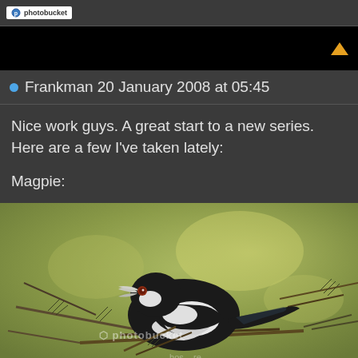[Figure (logo): Photobucket logo in top bar area]
[Figure (other): Black navigation bar with orange/yellow upward arrow triangle]
Frankman 20 January 2008 at 05:45
Nice work guys. A great start to a new series. Here are a few I've taken lately:
Magpie:
[Figure (photo): Photograph of a black and white magpie bird perched on branches against a green blurred background. Photobucket watermark visible.]